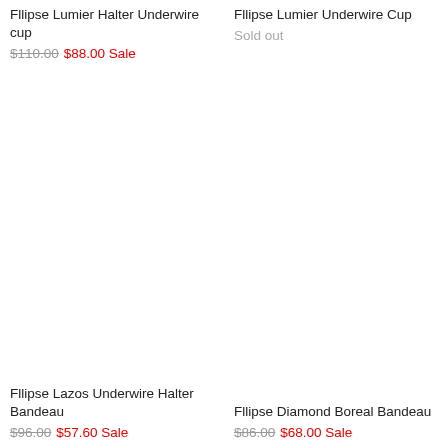Fllipse Lumier Halter Underwire cup
$110.00  $88.00 Sale
Fllipse Lumier Underwire Cup
Sold out
Fllipse Lazos Underwire Halter Bandeau
$96.00  $57.60 Sale
Fllipse Diamond Boreal Bandeau
$86.00  $68.00 Sale